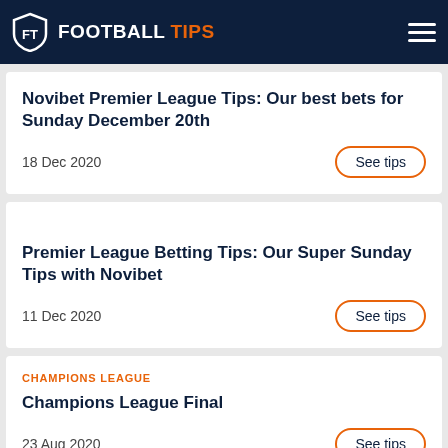FOOTBALL TIPS
Novibet Premier League Tips: Our best bets for Sunday December 20th
18 Dec 2020
Premier League Betting Tips: Our Super Sunday Tips with Novibet
11 Dec 2020
CHAMPIONS LEAGUE
Champions League Final
23 Aug 2020